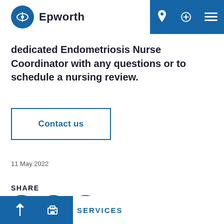Epworth
ort you to access specialist and at Epworth, tailored to your needs.
dedicated Endometriosis Nurse Coordinator with any questions or to schedule a nursing review.
Contact us
11 May 2022
SHARE
SERVICES